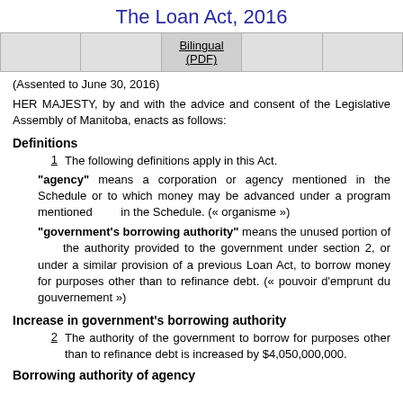The Loan Act, 2016
|  |  | Bilingual (PDF) |  |  |
| --- | --- | --- | --- | --- |
|  |
(Assented to June 30, 2016)
HER MAJESTY, by and with the advice and consent of the Legislative Assembly of Manitoba, enacts as follows:
Definitions
1   The following definitions apply in this Act.
"agency" means a corporation or agency mentioned in the Schedule or to which money may be advanced under a program mentioned in the Schedule. (« organisme »)
"government's borrowing authority" means the unused portion of the authority provided to the government under section 2, or under a similar provision of a previous Loan Act, to borrow money for purposes other than to refinance debt. (« pouvoir d'emprunt du gouvernement »)
Increase in government's borrowing authority
2   The authority of the government to borrow for purposes other than to refinance debt is increased by $4,050,000,000.
Borrowing authority of agency